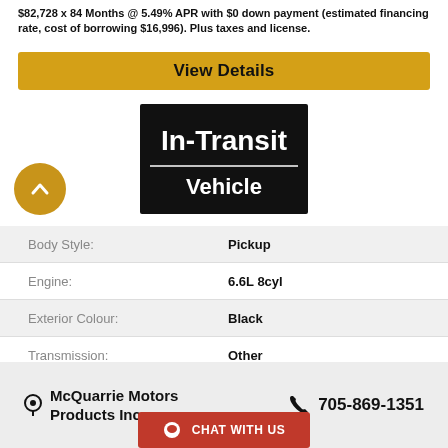$82,728 x 84 Months @ 5.49% APR with $0 down payment (estimated financing rate, cost of borrowing $16,996). Plus taxes and license.
View Details
[Figure (other): In-Transit Vehicle badge — black rectangle with white bold text 'In-Transit' on top line and 'Vehicle' on second line separated by a white horizontal rule]
| Attribute | Value |
| --- | --- |
| Body Style: | Pickup |
| Engine: | 6.6L 8cyl |
| Exterior Colour: | Black |
| Transmission: | Other |
| Drivetrain: | 4x4 |
| Stock #: | 23005 |
| City: | Espanola |
McQuarrie Motors Products Inc.  705-869-1351
CHAT WITH US